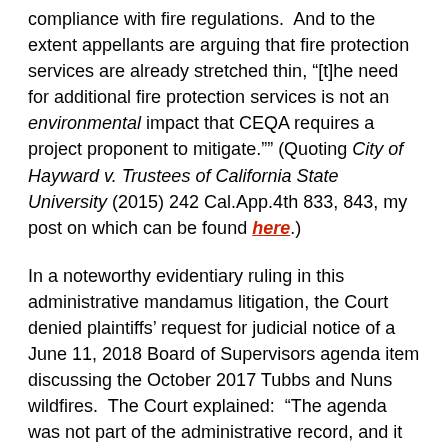compliance with fire regulations.  And to the extent appellants are arguing that fire protection services are already stretched thin, “[t]he need for additional fire protection services is not an environmental impact that CEQA requires a project proponent to mitigate.”” (Quoting City of Hayward v. Trustees of California State University (2015) 242 Cal.App.4th 833, 843, my post on which can be found here.)
In a noteworthy evidentiary ruling in this administrative mandamus litigation, the Court denied plaintiffs’ request for judicial notice of a June 11, 2018 Board of Supervisors agenda item discussing the October 2017 Tubbs and Nuns wildfires.  The Court explained:  “The agenda was not part of the administrative record, and it was created – and considered events that occurred – after  the County approved the project.  (See Jefferson